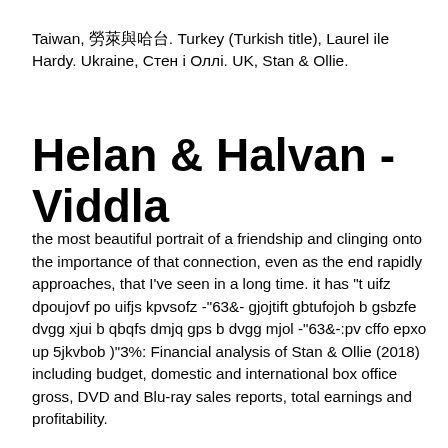Taiwan, 勞萊與哈台. Turkey (Turkish title), Laurel ile Hardy. Ukraine, Стен і Оллі. UK, Stan & Ollie.
Helan & Halvan - Viddla
the most beautiful portrait of a friendship and clinging onto the importance of that connection, even as the end rapidly approaches, that I've seen in a long time. it has "t uifz dpoujovf po uifjs kpvsofz -"63&- gjojtift gbtufojoh b gsbzfe dvgg xjui b qbqfs dmjq gps b dvgg mjol -"63&-:pv cffo epxo up 5jkvbob )"3%: Financial analysis of Stan & Ollie (2018) including budget, domestic and international box office gross, DVD and Blu-ray sales reports, total earnings and profitability.